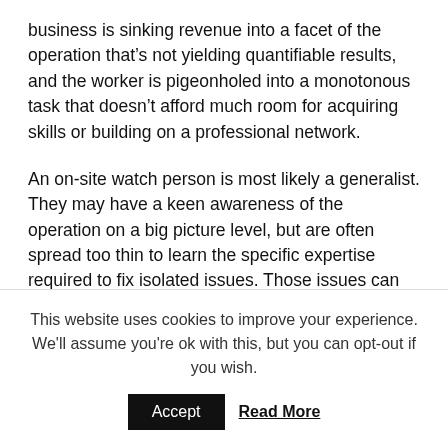business is sinking revenue into a facet of the operation that's not yielding quantifiable results, and the worker is pigeonholed into a monotonous task that doesn't afford much room for acquiring skills or building on a professional network.
An on-site watch person is most likely a generalist. They may have a keen awareness of the operation on a big picture level, but are often spread too thin to learn the specific expertise required to fix isolated issues. Those issues can quickly cascade to become serious systemic failures.
When something “goes wrong”, a system where
This website uses cookies to improve your experience. We'll assume you're ok with this, but you can opt-out if you wish.
Accept
Read More